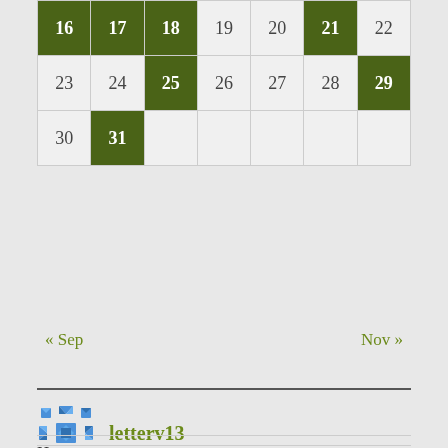| 16 | 17 | 18 | 19 | 20 | 21 | 22 |
| 23 | 24 | 25 | 26 | 27 | 28 | 29 |
| 30 | 31 |  |  |  |  |  |
« Sep    Nov »
[Figure (logo): Blue geometric snowflake/quilt pattern logo]
letterv13
Home
About Letter V